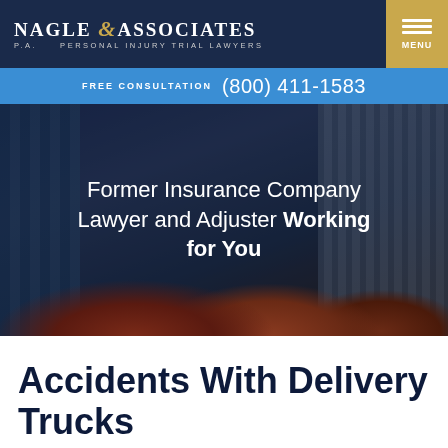[Figure (logo): Nagle & Associates P.A. Personal Injury Trial Lawyers logo in white and gold on dark navy background, with hamburger menu button in gold on the right]
FREE CONSULTATION  (800) 411-1583
[Figure (photo): Hero image of city buildings with red autumn trees in foreground, dark blue overlay, with text: 'Former Insurance Company Lawyer and Adjuster Working for You']
Accidents With Delivery Trucks